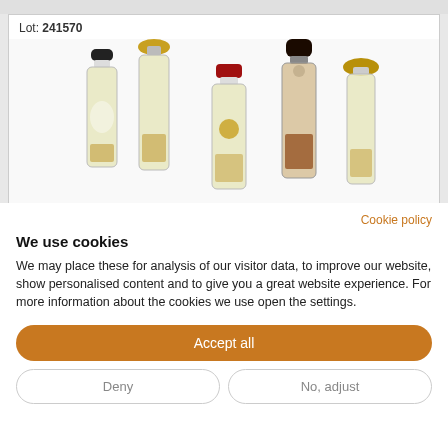Lot: 241570
[Figure (photo): Several miniature spirit/whisky bottles of varying heights arranged side by side against a white background. Bottles have black, gold, and red caps/closures.]
Cookie policy
We use cookies
We may place these for analysis of our visitor data, to improve our website, show personalised content and to give you a great website experience. For more information about the cookies we use open the settings.
Accept all
Deny
No, adjust